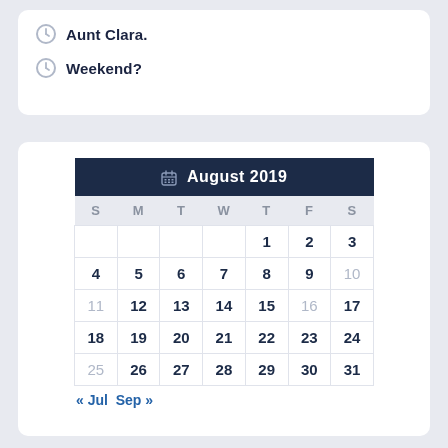Aunt Clara.
Weekend?
| S | M | T | W | T | F | S |
| --- | --- | --- | --- | --- | --- | --- |
|  |  |  |  | 1 | 2 | 3 |
| 4 | 5 | 6 | 7 | 8 | 9 | 10 |
| 11 | 12 | 13 | 14 | 15 | 16 | 17 |
| 18 | 19 | 20 | 21 | 22 | 23 | 24 |
| 25 | 26 | 27 | 28 | 29 | 30 | 31 |